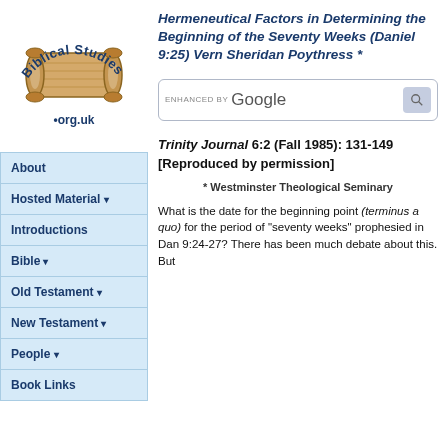[Figure (logo): Biblical Studies .org.uk logo with scroll image and arched text]
Hermeneutical Factors in Determining the Beginning of the Seventy Weeks (Daniel 9:25) Vern Sheridan Poythress *
About
Hosted Material ▾
Introductions
Bible ▾
Old Testament ▾
New Testament ▾
People ▾
Book Links
[Figure (other): Enhanced by Google search box with search button]
Trinity Journal 6:2 (Fall 1985): 131-149
[Reproduced by permission]
* Westminster Theological Seminary
What is the date for the beginning point (terminus a quo) for the period of "seventy weeks" prophesied in Dan 9:24-27? There has been much debate about this. But